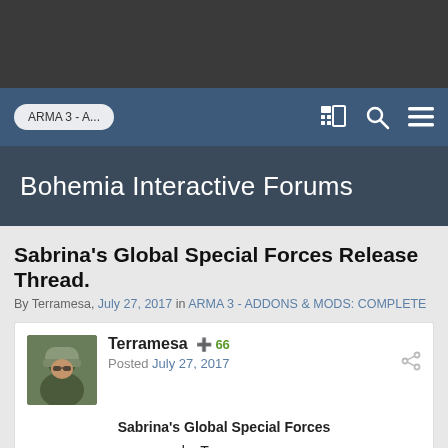ARMA 3 - A...
Bohemia Interactive Forums
Sabrina's Global Special Forces Release Thread.
By Terramesa, July 27, 2017 in ARMA 3 - ADDONS & MODS: COMPLETE
Terramesa  66
Posted July 27, 2017
Sabrina's Global Special Forces
by Terramesa
DESCRIPTION